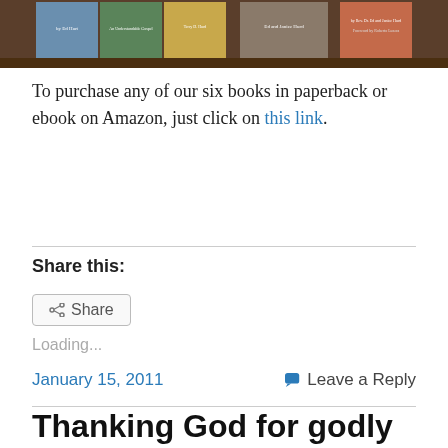[Figure (photo): A row of book covers displayed on a shelf or surface, cropped at top of page.]
To purchase any of our six books in paperback or ebook on Amazon, just click on this link.
Share this:
Share
Loading...
January 15, 2011
Leave a Reply
Thanking God for godly mentors